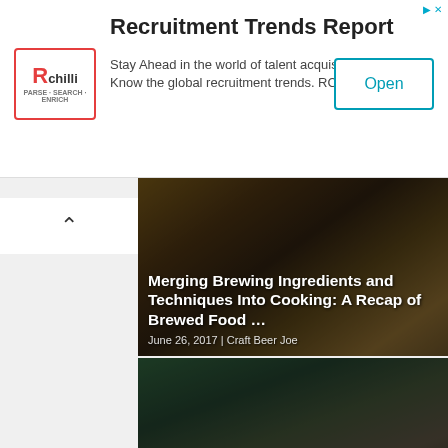[Figure (infographic): RChilli advertisement banner for Recruitment Trends Report with logo, text, and Open button]
Recruitment Trends Report
Stay Ahead in the world of talent acquisition. Know the global recruitment trends. RChilli Inc
[Figure (photo): Article card: Merging Brewing Ingredients and Techniques Into Cooking: A Recap of Brewed Food ... — June 26, 2017 | Craft Beer Joe]
[Figure (photo): Article card: Event Preview | Brewed Food 2017 Tour — May 10, 2017 | Hannah Carlson]
[Figure (photo): Article card: Wooden Cask | Corruption — December 19, 2018 | Craft Beer Joe]